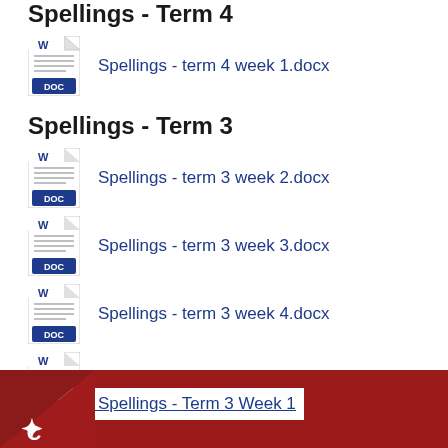Spellings - Term 4
Spellings - term 4 week 1.docx
Spellings - Term 3
Spellings - term 3 week 2.docx
Spellings - term 3 week 3.docx
Spellings - term 3 week 4.docx
Spellings - term 3 week 5.docx
Spellings - term 3 week 6.docx
ar 3 Spellings - Term 3 Week 1